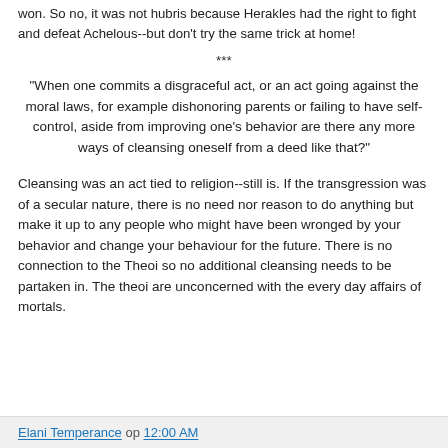won. So no, it was not hubris because Herakles had the right to fight and defeat Achelous--but don't try the same trick at home!
***
"When one commits a disgraceful act, or an act going against the moral laws, for example dishonoring parents or failing to have self-control, aside from improving one's behavior are there any more ways of cleansing oneself from a deed like that?"
Cleansing was an act tied to religion--still is. If the transgression was of a secular nature, there is no need nor reason to do anything but make it up to any people who might have been wronged by your behavior and change your behaviour for the future. There is no connection to the Theoi so no additional cleansing needs to be partaken in. The theoi are unconcerned with the every day affairs of mortals.
Elani Temperance op 12:00 AM